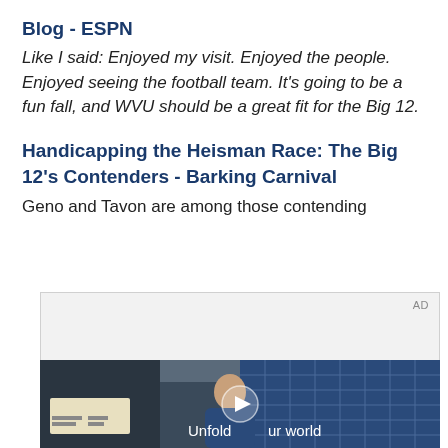Blog - ESPN
Like I said: Enjoyed my visit. Enjoyed the people. Enjoyed seeing the football team. It's going to be a fun fall, and WVU should be a great fit for the Big 12.
Handicapping the Heisman Race: The Big 12's Contenders - Barking Carnival
Geno and Tavon are among those contending
[Figure (screenshot): Advertisement area with a video thumbnail showing a young man in a denim jacket standing in front of a blue-tiled wall, with text 'Unfold your world' and a play button overlay. AD label in top right corner.]